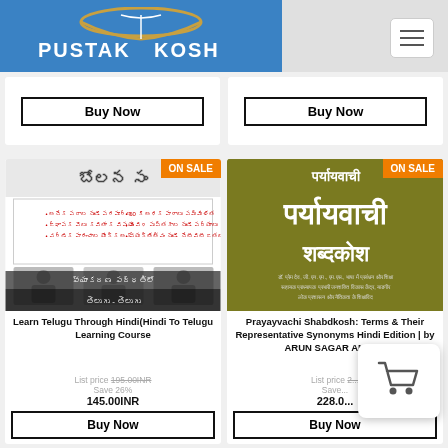Pustak Kosh
[Figure (screenshot): Top partial buy now buttons for two book cards]
[Figure (photo): Learn Telugu Through Hindi book cover with Indian language text and photos of authors]
Learn Telugu Through Hindi(Hindi To Telugu Learning Course
List price 195.00INR
Save 26%
145.00INR
[Figure (photo): Paryayvachi Shabdkosh book cover with Hindi text on olive/brown background]
Prayayvachi Shabdkosh: Terms & Their Representative Synonyms Hindi Edition | by ARUN SAGAR ANAND
List price 2...
Save...
228.0...